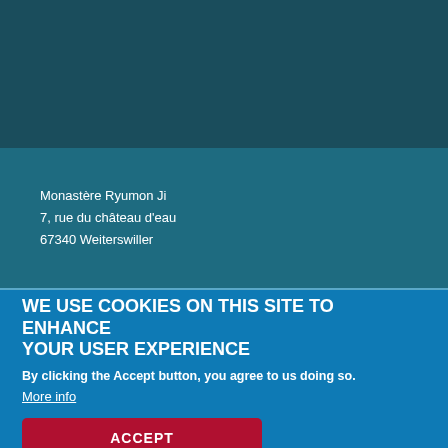Monastère Ryumon Ji
7, rue du château d'eau
67340 Weiterswiller
WE USE COOKIES ON THIS SITE TO ENHANCE YOUR USER EXPERIENCE
By clicking the Accept button, you agree to us doing so.
More info
ACCEPT
NO, THANKS